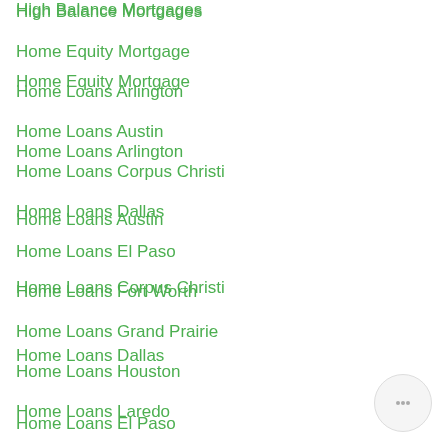High Balance Mortgages
Home Equity Mortgage
Home Loans Arlington
Home Loans Austin
Home Loans Corpus Christi
Home Loans Dallas
Home Loans El Paso
Home Loans Fort Worth
Home Loans Grand Prairie
Home Loans Houston
Home Loans Laredo